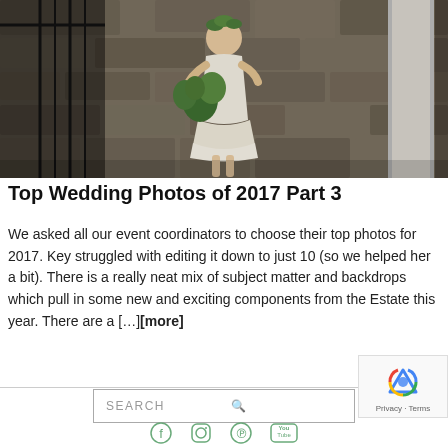[Figure (photo): A young flower girl in a white lace dress holding a bouquet of greenery, standing in front of a stone wall with a white column, in a rustic outdoor wedding setting.]
Top Wedding Photos of 2017 Part 3
We asked all our event coordinators to choose their top photos for 2017. Key struggled with editing it down to just 10 (so we helped her a bit). There is a really neat mix of subject matter and backdrops which pull in some new and exciting components from the Estate this year. There are a […][more]